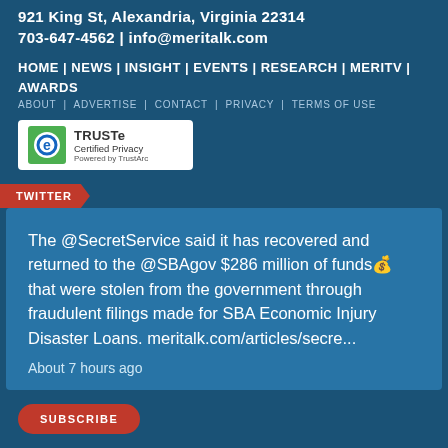921 King St, Alexandria, Virginia 22314
703-647-4562 | info@meritalk.com
HOME | NEWS | INSIGHT | EVENTS | RESEARCH | MERITV | AWARDS
ABOUT | ADVERTISE | CONTACT | PRIVACY | TERMS OF USE
[Figure (logo): TRUSTe Certified Privacy Powered by TrustArc badge]
TWITTER
The @SecretService said it has recovered and returned to the @SBAgov $286 million of funds💰 that were stolen from the government through fraudulent filings made for SBA Economic Injury Disaster Loans. meritalk.com/articles/secre...
About 7 hours ago
SUBSCRIBE